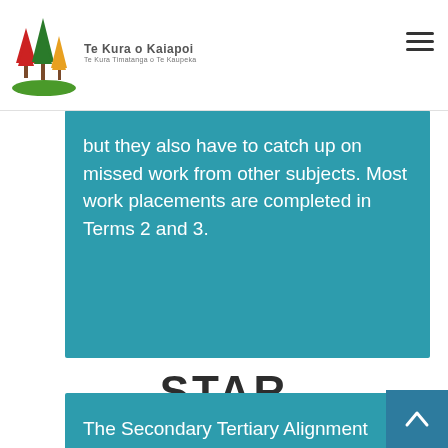Te Kura o Kaiapoi · Te Kura Timatanga o Te Kaupeka
but they also have to catch up on missed work from other subjects. Most work placements are completed in Terms 2 and 3.
STAR
The Secondary Tertiary Alignment